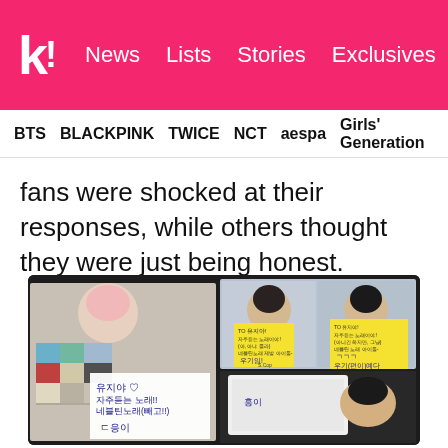k! News  Lists  Stories  Exclusives
BTS  BLACKPINK  TWICE  NCT  aespa  Girls' Generation
fans were shocked at their responses, while others thought they were just being honest.
[Figure (photo): Composite image of K-pop fan meeting notes/letters written in Korean on paper and sticky notes, with partially visible idol photocards in the background. Multiple handwritten Korean notes visible including signatures.]